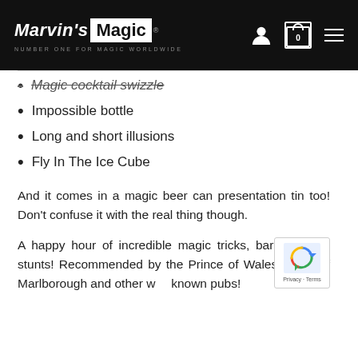Marvin's Magic — NUMBER ONE FOR MAGIC WORLDWIDE
Magic cocktail swizzle
Impossible bottle
Long and short illusions
Fly In The Ice Cube
And it comes in a magic beer can presentation tin too! Don't confuse it with the real thing though.
A happy hour of incredible magic tricks, bar bets and stunts! Recommended by the Prince of Wales, Duke of Marlborough and other well known pubs!